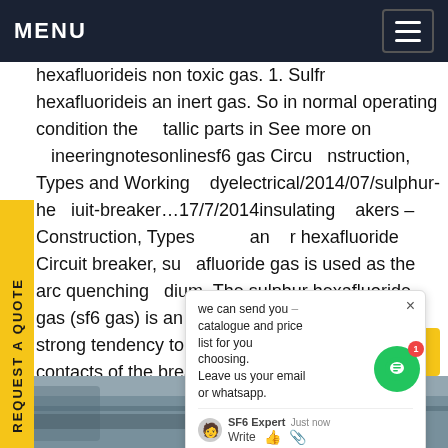MENU
hexafluorideis non toxic gas. 1. Sulfr hexafluorideis an inert gas. So in normal operating condition the metallic parts in See more on engineeringnotesonlinesf6 gas Circuit breakers – Construction, Types and Working studyelectrical/2014/07/sulphur-hexafluoride Circuit-breaker…17/7/2014insulating breakers – Construction, Types an r hexafluoride Circuit breaker, sulphur hexafluoride gas is used as the arc quenching medium. The sulphur hexafluoride gas (sf6 gas) is an electronegative gas and has a strong tendency to absorb free electrons. The contacts of the breaker are opened in a high-pressure flow sulphur Get
[Figure (screenshot): Chat popup overlay with text: 'we can send you catalogue and price list for you choosing. Leave us your email or whatsapp.' with SF6 Expert agent just now, Write field with like and attachment icons.]
[Figure (photo): Bottom strip of a photograph showing industrial equipment in grey tones.]